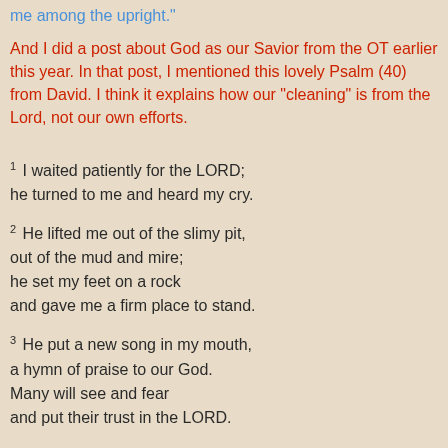me among the upright."
And I did a post about God as our Savior from the OT earlier this year. In that post, I mentioned this lovely Psalm (40) from David. I think it explains how our "cleaning" is from the Lord, not our own efforts.
1 I waited patiently for the LORD;
he turned to me and heard my cry.
2 He lifted me out of the slimy pit,
out of the mud and mire;
he set my feet on a rock
and gave me a firm place to stand.
3 He put a new song in my mouth,
a hymn of praise to our God.
Many will see and fear
and put their trust in the LORD.